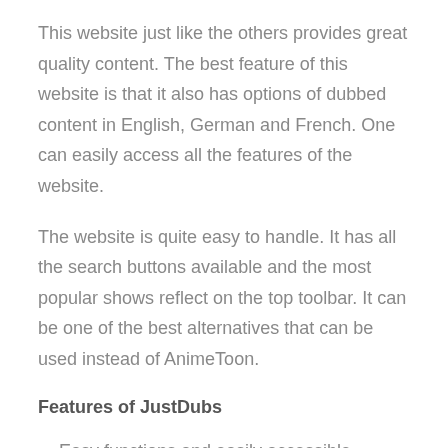This website just like the others provides great quality content. The best feature of this website is that it also has options of dubbed content in English, German and French. One can easily access all the features of the website.
The website is quite easy to handle. It has all the search buttons available and the most popular shows reflect on the top toolbar. It can be one of the best alternatives that can be used instead of AnimeToon.
Features of JustDubs
Easy functions and easily accessible.
The video quality is great.